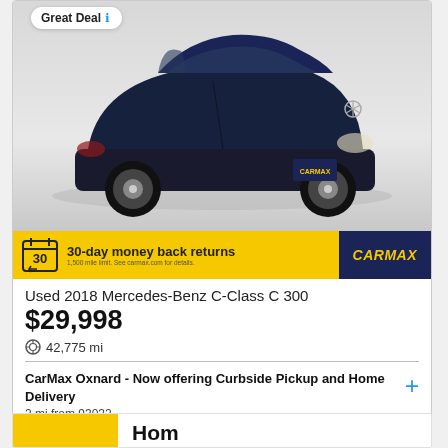[Figure (photo): Dark navy blue 2018 Mercedes-Benz C-Class C 300 sedan photographed from a front three-quarter angle on a light grey background. CarMax license plate frame visible. Below the car photo is a yellow banner with a calendar icon showing '30', text '30-day money back returns' with small fine print, and a dark blue CarMax logo on the right.]
Used 2018 Mercedes-Benz C-Class C 300
$29,998
42,775 mi
CarMax Oxnard - Now offering Curbside Pickup and Home Delivery
2 mi from 93032